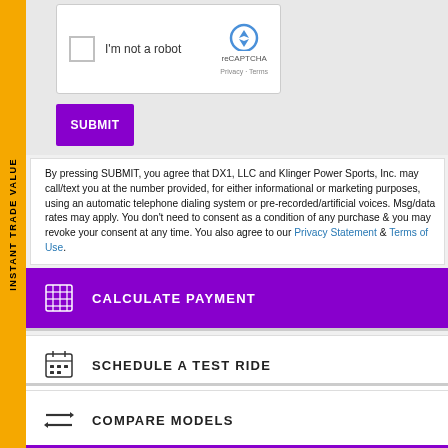[Figure (screenshot): reCAPTCHA widget with checkbox labeled 'I'm not a robot' and reCAPTCHA logo/branding on the right]
[Figure (screenshot): Purple SUBMIT button]
By pressing SUBMIT, you agree that DX1, LLC and Klinger Power Sports, Inc. may call/text you at the number provided, for either informational or marketing purposes, using an automatic telephone dialing system or pre-recorded/artificial voices. Msg/data rates may apply. You don't need to consent as a condition of any purchase & you may revoke your consent at any time. You also agree to our Privacy Statement & Terms of Use.
CALCULATE PAYMENT
SCHEDULE A TEST RIDE
COMPARE MODELS
INSURANCE QUOTE